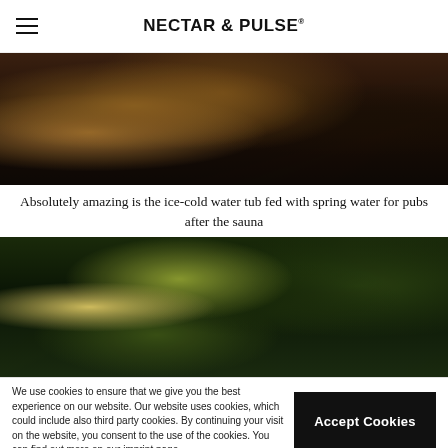NECTAR & PULSE
[Figure (photo): Close-up of a wooden ice-cold water tub, dark rustic interior with wood texture and water dripping, sauna context]
Absolutely amazing is the ice-cold water tub fed with spring water for pubs after the sauna
[Figure (photo): Outdoor winter forest scene with snow and green pine/fir trees, sunlight filtering through branches]
We use cookies to ensure that we give you the best experience on our website. Our website uses cookies, which could include also third party cookies. By continuing your visit on the website, you consent to the use of the cookies. You can find out more on our imprint page.